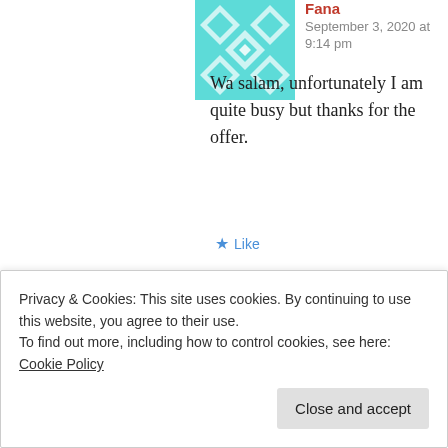[Figure (illustration): Teal/cyan geometric quilted pattern avatar for user Fana]
Fana
September 3, 2020 at 9:14 pm
Wa salam, unfortunately I am quite busy but thanks for the offer.
Like
[Figure (illustration): Dark red/maroon geometric quilted pattern avatar for user alexanderabood]
alexanderabood
September 3, 2020 at 9:19 pm
Ok, but please remember the
Privacy & Cookies: This site uses cookies. By continuing to use this website, you agree to their use.
To find out more, including how to control cookies, see here: Cookie Policy
Close and accept